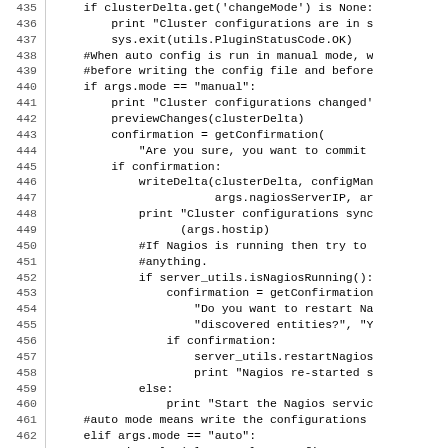Code listing lines 435-465, Python source code for cluster configuration management